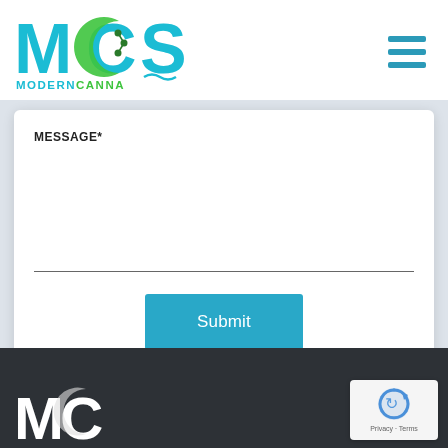[Figure (logo): Modern Canna Labs logo — MCS letters in teal/blue with green crescent and molecule graphic, 'MODERNCANNA LABS' text beneath]
[Figure (other): Hamburger menu icon — three horizontal teal lines stacked]
MESSAGE*
Submit
[Figure (logo): Modern Canna Labs logo partial — white version on dark footer, only top portion visible]
[Figure (other): reCAPTCHA badge — white box with recycling arrow icon and 'Privacy - Terms' text]